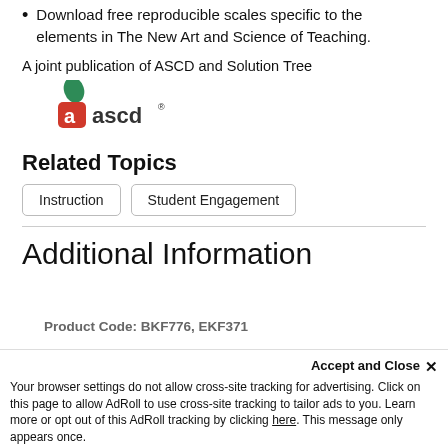Download free reproducible scales specific to the elements in The New Art and Science of Teaching.
A joint publication of ASCD and Solution Tree
[Figure (logo): ASCD logo with green leaf and red 'a' icon followed by 'ascd' text in dark gray]
Related Topics
Instruction
Student Engagement
Additional Information
Product Code: BKF776, EKF371
Accept and Close ×
Your browser settings do not allow cross-site tracking for advertising. Click on this page to allow AdRoll to use cross-site tracking to tailor ads to you. Learn more or opt out of this AdRoll tracking by clicking here. This message only appears once.